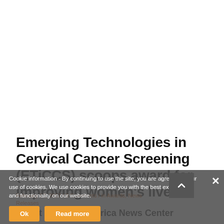Emerging Technologies in Cervical Cancer Screening (ETiCCS) scoops award for improving women's lives
February 17, 2017 / 0 Comments / in Awards, News Releases / Releases
About SAP / SAP Africa News Center
Cookie information - By continuing to use the site, you are agreeing to our use of cookies. We use cookies to provide you with the best experience and functionality on our website.